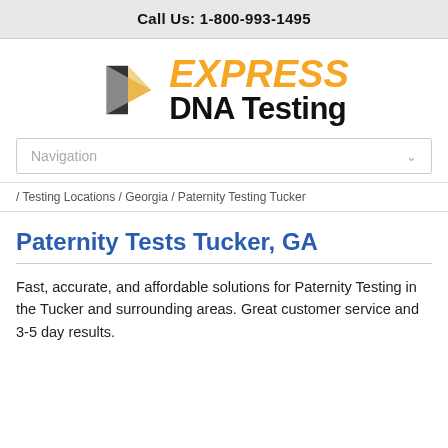Call Us: 1-800-993-1495
[Figure (logo): Express DNA Testing logo with orange arrow graphic and bold text]
Navigation
/ Testing Locations / Georgia / Paternity Testing Tucker
Paternity Tests Tucker, GA
Fast, accurate, and affordable solutions for Paternity Testing in the Tucker and surrounding areas. Great customer service and 3-5 day results.